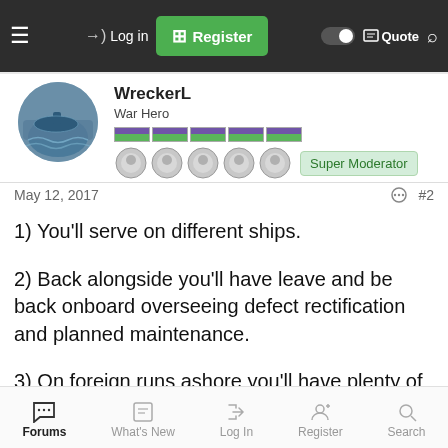Log in | Register | Quote
[Figure (photo): User avatar showing a naval/submarine scene]
WreckerL
War Hero
Super Moderator
May 12, 2017  #2
1) You'll serve on different ships.
2) Back alongside you'll have leave and be back onboard overseeing defect rectification and planned maintenance.
3) On foreign runs ashore you'll have plenty of time to see
Forums | What's New | Log In | Register | Search